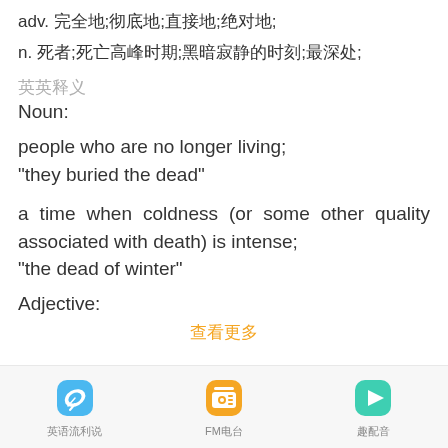adv. 完全地;彻底地;直接地;绝对地;
n. 死者;死亡高峰时期;黑暗寂静的时刻;最深处;
英英释义
Noun:
people who are no longer living;
"they buried the dead"
a time when coldness (or some other quality associated with death) is intense;
"the dead of winter"
Adjective:
查看更多
英语流利说  FM电台  趣配音